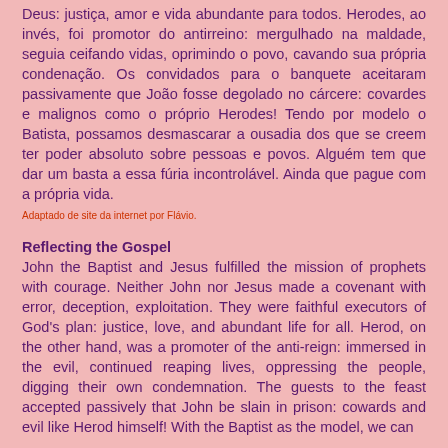Deus: justiça, amor e vida abundante para todos. Herodes, ao invés, foi promotor do antirreino: mergulhado na maldade, seguia ceifando vidas, oprimindo o povo, cavando sua própria condenação. Os convidados para o banquete aceitaram passivamente que João fosse degolado no cárcere: covardes e malignos como o próprio Herodes! Tendo por modelo o Batista, possamos desmascarar a ousadia dos que se creem ter poder absoluto sobre pessoas e povos. Alguém tem que dar um basta a essa fúria incontrolável. Ainda que pague com a própria vida.
Adaptado de site da internet por Flávio.
Reflecting the Gospel
John the Baptist and Jesus fulfilled the mission of prophets with courage. Neither John nor Jesus made a covenant with error, deception, exploitation. They were faithful executors of God's plan: justice, love, and abundant life for all. Herod, on the other hand, was a promoter of the anti-reign: immersed in the evil, continued reaping lives, oppressing the people, digging their own condemnation. The guests to the feast accepted passively that John be slain in prison: cowards and evil like Herod himself! With the Baptist as the model, we can